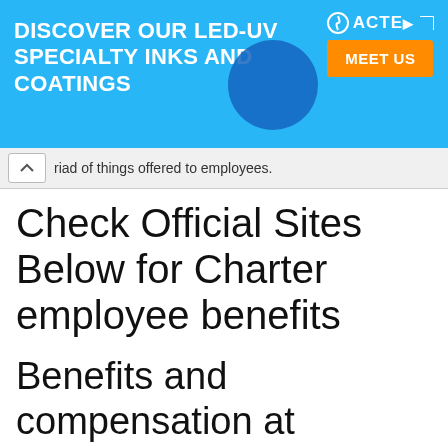[Figure (other): Advertisement banner for ACTEGA LED-UV specialty inks and coatings with 'MEET US' button]
riad of things offered to employees.
Check Official Sites Below for Charter employee benefits
Benefits and compensation at Spectrum
https://jobs.spectrum.com/compensation